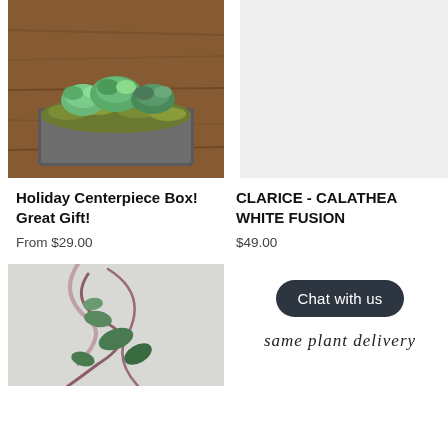[Figure (photo): Photo of a succulent arrangement in a rustic wooden box planter on a wooden surface]
Holiday Centerpiece Box! Great Gift!
From $29.00
[Figure (photo): Light gray placeholder image for Clarice - Calathea White Fusion product]
CLARICE - CALATHEA WHITE FUSION
$49.00
[Figure (photo): Photo of a tropical trailing plant with long curling stems and green leaves against a gray background]
[Figure (other): Chat with us button (dark rounded rectangle) and decorative script text below reading 'same plant delivery']